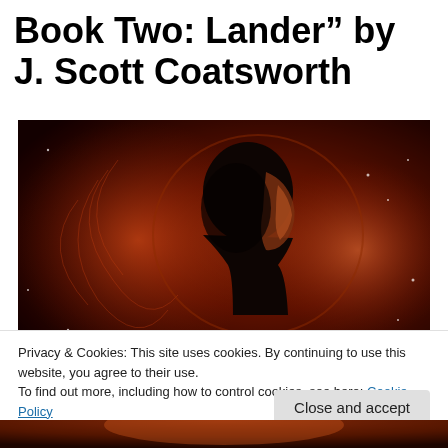Book Two: Lander" by J. Scott Coatsworth
[Figure (photo): Book cover image showing a silhouetted man's face with dramatic red/orange cosmic background with swirling light effects and stars]
Privacy & Cookies: This site uses cookies. By continuing to use this website, you agree to their use.
To find out more, including how to control cookies, see here: Cookie Policy
Close and accept